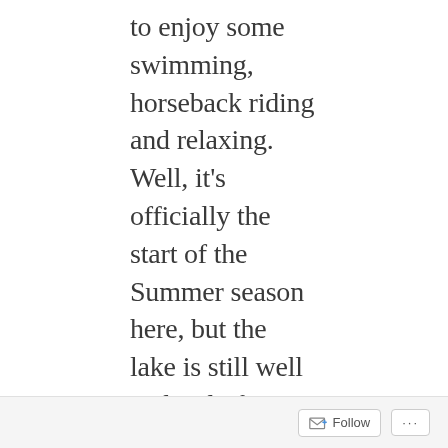to enjoy some swimming, horseback riding and relaxing. Well, it's officially the start of the Summer season here, but the lake is still well and truly frozen, so no swimming for us! We did manage a two hour horse ride along the shore today (that was quite long enough thankyou!) and we walked for over two hours this afternoon after Guntulkar produced a hearty Mongolian BBQ lunch for us. The ice looks so beautiful, the water, where it has melted is crystal clear
Follow ···